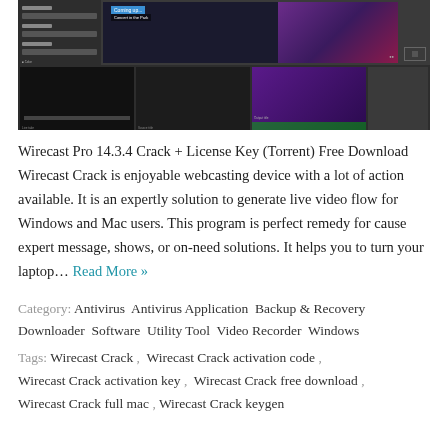[Figure (screenshot): Wirecast Pro software interface screenshot showing a dark-themed video production application with preview panel, color controls on the left, video thumbnail strips at the bottom, and a purple/dark concert scene in the preview area.]
Wirecast Pro 14.3.4 Crack + License Key (Torrent) Free Download Wirecast Crack is enjoyable webcasting device with a lot of action available. It is an expertly solution to generate live video flow for Windows and Mac users. This program is perfect remedy for cause expert message, shows, or on-need solutions. It helps you to turn your laptop… Read More »
Category: Antivirus  Antivirus Application  Backup & Recovery  Downloader  Software  Utility Tool  Video Recorder  Windows
Tags: Wirecast Crack ,  Wirecast Crack activation code ,  Wirecast Crack activation key ,  Wirecast Crack free download ,  Wirecast Crack full mac ,  Wirecast Crack keygen